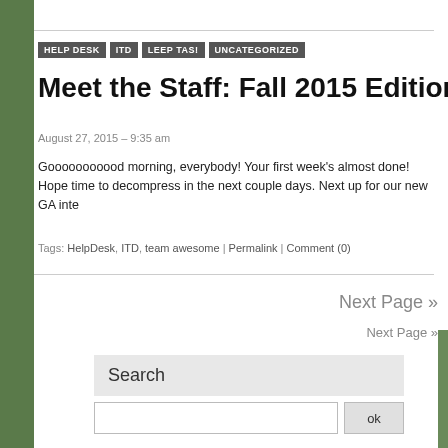HELP DESK | ITD | LEEP TAS! | UNCATEGORIZED
Meet the Staff: Fall 2015 Edition – Karol
August 27, 2015 – 9:35 am
Gooooooooood morning, everybody! Your first week's almost done! Hope time to decompress in the next couple days. Next up for our new GA inte
Tags: HelpDesk, ITD, team awesome | Permalink | Comment (0)
Next Page »
Next Page »
Search